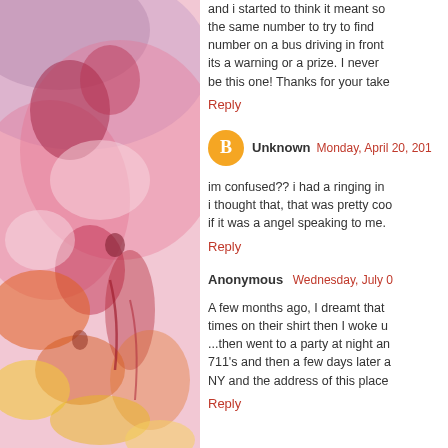[Figure (illustration): Watercolor painting with abstract floral/organic shapes in shades of red, pink, orange, yellow, and purple on the left side of the page.]
and i started to think it meant so the same number to try to find number on a bus driving in front its a warning or a prize. I never be this one! Thanks for your take
Reply
Unknown  Monday, April 20, 201
im confused?? i had a ringing in i thought that, that was pretty coo if it was a angel speaking to me.
Reply
Anonymous  Wednesday, July 0
A few months ago, I dreamt that times on their shirt then I woke u ...then went to a party at night an 711's and then a few days later a NY and the address of this place
Reply